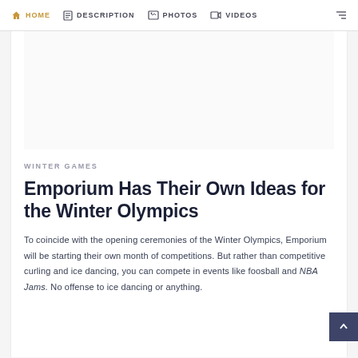HOME  DESCRIPTION  PHOTOS  VIDEOS
[Figure (other): White/blank image placeholder area at top of article]
WINTER GAMES
Emporium Has Their Own Ideas for the Winter Olympics
To coincide with the opening ceremonies of the Winter Olympics, Emporium will be starting their own month of competitions. But rather than competitive curling and ice dancing, you can compete in events like foosball and NBA Jams. No offense to ice dancing or anything.